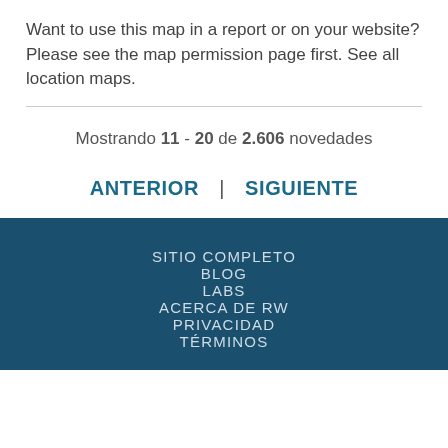Want to use this map in a report or on your website? Please see the map permission page first. See all location maps.
Mostrando 11 - 20 de 2.606 novedades
ANTERIOR | SIGUIENTE
SITIO COMPLETO
BLOG
LABS
ACERCA DE RW
PRIVACIDAD
TÉRMINOS